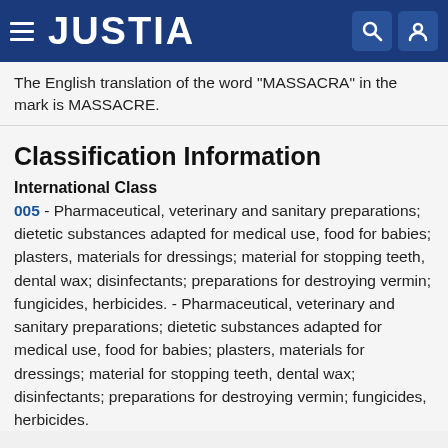JUSTIA
The English translation of the word "MASSACRA" in the mark is MASSACRE.
Classification Information
International Class
005 - Pharmaceutical, veterinary and sanitary preparations; dietetic substances adapted for medical use, food for babies; plasters, materials for dressings; material for stopping teeth, dental wax; disinfectants; preparations for destroying vermin; fungicides, herbicides. - Pharmaceutical, veterinary and sanitary preparations; dietetic substances adapted for medical use, food for babies; plasters, materials for dressings; material for stopping teeth, dental wax; disinfectants; preparations for destroying vermin; fungicides, herbicides.